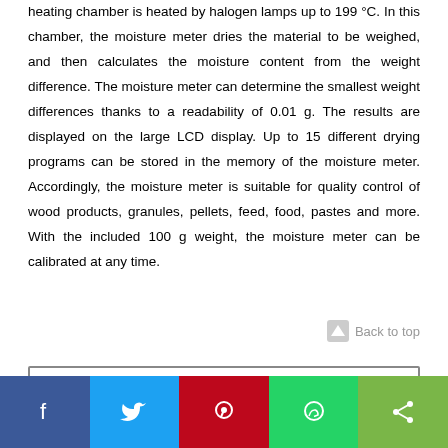heating chamber is heated by halogen lamps up to 199 °C. In this chamber, the moisture meter dries the material to be weighed, and then calculates the moisture content from the weight difference. The moisture meter can determine the smallest weight differences thanks to a readability of 0.01 g. The results are displayed on the large LCD display. Up to 15 different drying programs can be stored in the memory of the moisture meter. Accordingly, the moisture meter is suitable for quality control of wood products, granules, pellets, feed, food, pastes and more. With the included 100 g weight, the moisture meter can be calibrated at any time.
[Figure (other): Back to top button with arrow icon]
[Figure (screenshot): Green banner/box section partially visible]
[Figure (infographic): Social sharing bar with Facebook, Twitter, Pinterest, WhatsApp, and Share buttons]